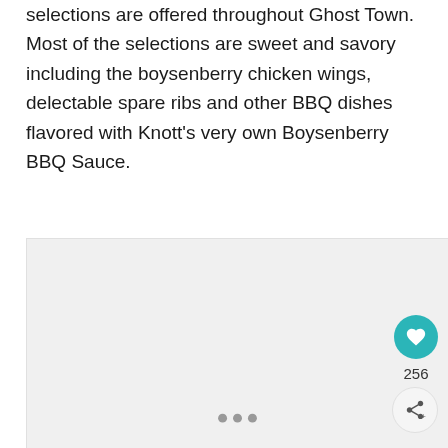selections are offered throughout Ghost Town.  Most of the selections are sweet and savory including the boysenberry chicken wings, delectable spare ribs and other BBQ dishes flavored with Knott's very own Boysenberry BBQ Sauce.
[Figure (photo): A large light gray rectangular image placeholder area with three small gray dots at the bottom center, indicating an image carousel or slideshow.]